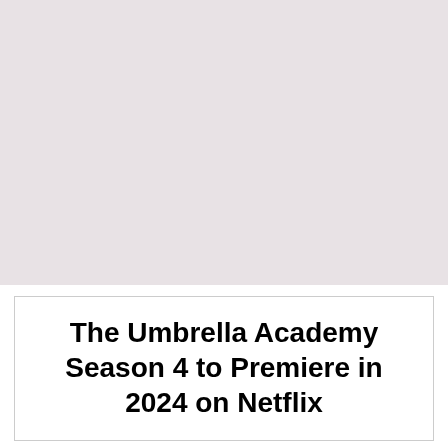[Figure (photo): Large light pinkish-grey rectangular area representing an image placeholder.]
The Umbrella Academy Season 4 to Premiere in 2024 on Netflix